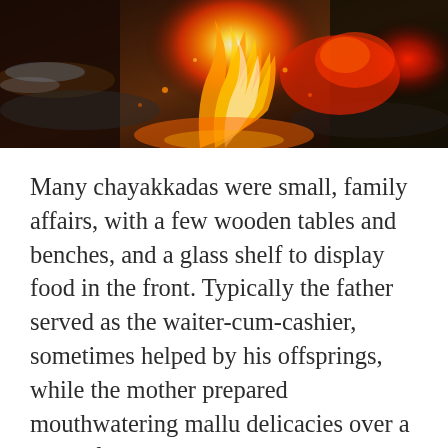[Figure (photo): Close-up photo of a wood fire with glowing orange and red flames and burning embers over charred wood]
Many chayakkadas were small, family affairs, with a few wooden tables and benches, and a glass shelf to display food in the front. Typically the father served as the waiter-cum-cashier, sometimes helped by his offsprings, while the mother prepared mouthwatering mallu delicacies over a wood-fire in the back. The chayakkadas were our public spaces, the agoras of our villages, where